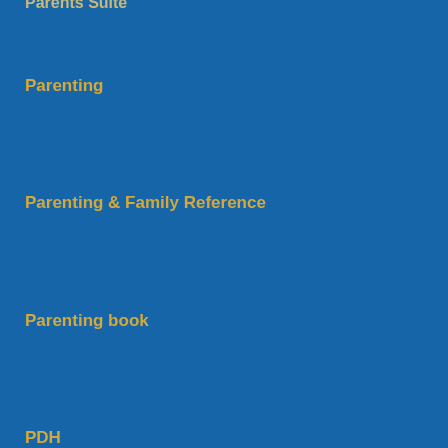Parents Suite
Parenting
Parenting & Family Reference
Parenting book
PDH
PDU
Perfformio
Perform
Performance
Performance Improvement